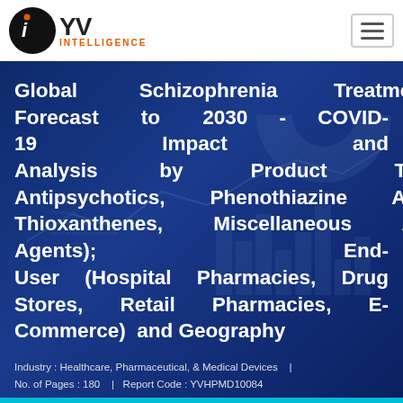[Figure (logo): iYV Intelligence logo with black circle containing stylized 'i' and 'YV' text, with INTELLIGENCE subtitle in orange]
Global Schizophrenia Treatment Market Forecast to 2030 - COVID-19 Impact and Analysis by Product Type (Atypical Antipsychotics, Phenothiazine Antipsychotics, Thioxanthenes, Miscellaneous Antipsychotic Agents); End-User (Hospital Pharmacies, Drug Stores, Retail Pharmacies, E-Commerce) and Geography
Industry : Healthcare, Pharmaceutical, & Medical Devices   |   No. of Pages : 180   |   Report Code : YVHPMD10084